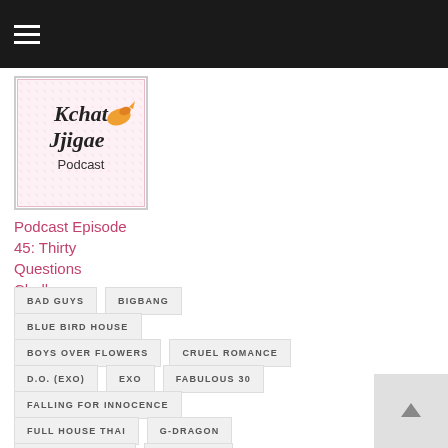Navigation menu
[Figure (logo): Kchat Jjigae Podcast logo with goldfish graphic on pink/white background]
Podcast Episode 45: Thirty Questions Challenge
BAD GUYS
BIGBANG
BLUE BIRD HOUSE
BOYS OVER FLOWERS
CRUEL ROMANCE
D.O. (EXO)
EXO
FABULOUS 30
FALLING FOR INNOCENCE
FULL HOUSE THAI
G-DRAGON
HIDDEN IDENTITY
HORMONES